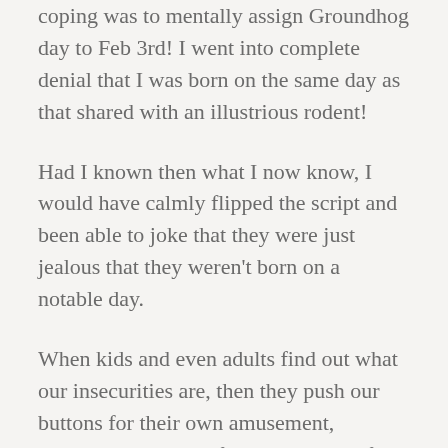coping was to mentally assign Groundhog day to Feb 3rd! I went into complete denial that I was born on the same day as that shared with an illustrious rodent!
Had I known then what I now know, I would have calmly flipped the script and been able to joke that they were just jealous that they weren't born on a notable day.
When kids and even adults find out what our insecurities are, then they push our buttons for their own amusement, enjoying the sense of power they get from making someone squirm, feel embarrassed or even cry.
Being able to own our deficiencies or even